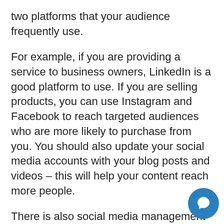two platforms that your audience frequently use.
For example, if you are providing a service to business owners, LinkedIn is a good platform to use. If you are selling products, you can use Instagram and Facebook to reach targeted audiences who are more likely to purchase from you. You should also update your social media accounts with your blog posts and videos – this will help your content reach more people.
There is also social media management software you can use, such as Hootsuite, to help you handle your accounts in one place, schedule posts in advance and track comments and messages.